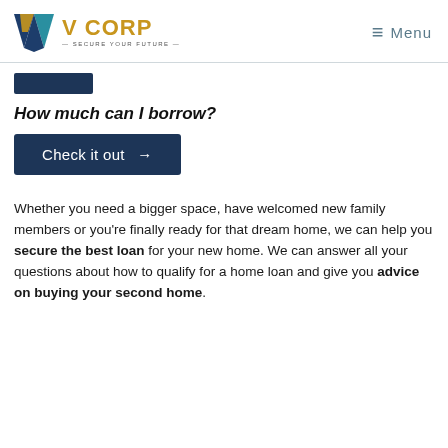V CORP — SECURE YOUR FUTURE — Menu
How much can I borrow?
Check it out →
Whether you need a bigger space, have welcomed new family members or you're finally ready for that dream home, we can help you secure the best loan for your new home. We can answer all your questions about how to qualify for a home loan and give you advice on buying your second home.